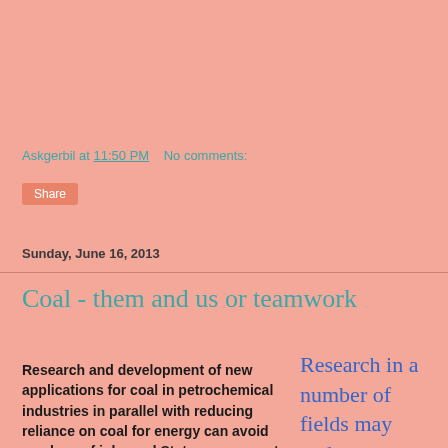Askgerbil at 11:50 PM   No comments:
Share
Sunday, June 16, 2013
Coal - them and us or teamwork
Research and development of new applications for coal in petrochemical industries in parallel with reducing reliance on coal for energy can avoid any loss of jobs and State government mining royalties. If the new applications increase the value of coal then the
Research in a number of fields may make new nuclear energy technology available with little warning...